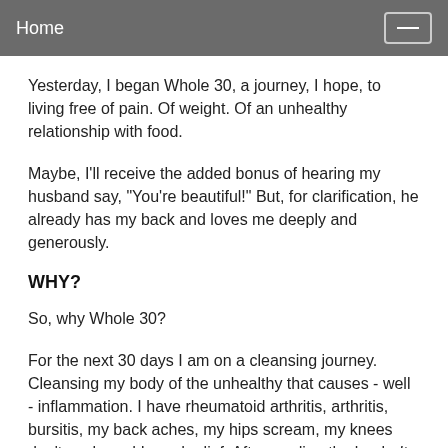Home
Yesterday, I began Whole 30, a journey, I hope, to living free of pain. Of weight. Of an unhealthy relationship with food.
Maybe, I'll receive the added bonus of hearing my husband say, "You're beautiful!" But, for clarification, he already has my back and loves me deeply and generously.
WHY?
So, why Whole 30?
For the next 30 days I am on a cleansing journey. Cleansing my body of the unhealthy that causes - well - inflammation. I have rheumatoid arthritis, arthritis, bursitis, my back aches, my hips scream, my knees don't work, and I need relief. After reading the book, It Starts with Food, I felt this was the best avenue I could take, especially after reading the author of the book...